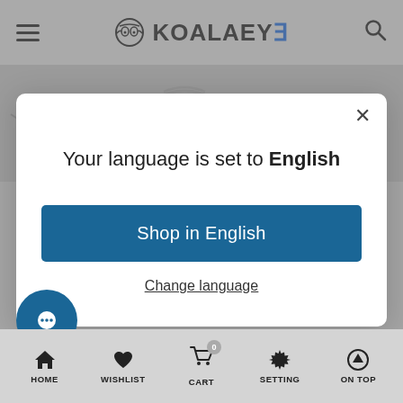[Figure (screenshot): KoalaEye website header with hamburger menu, logo, and search icon on grey background with glasses product images]
[Figure (screenshot): Language selection modal dialog on KoalaEye e-commerce site showing 'Your language is set to English' with Shop in English button and Change language link]
Your language is set to English
Shop in English
Change language
HOME   WISHLIST   CART   SETTING   ON TOP